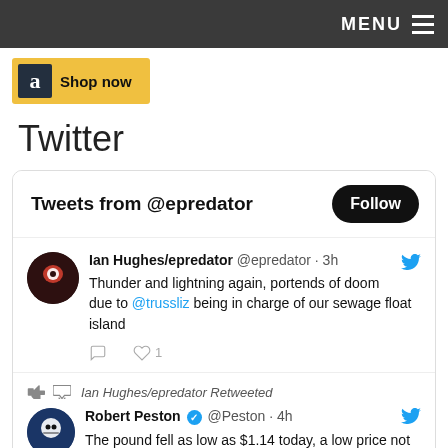MENU ≡
[Figure (other): Amazon advertisement banner with Amazon 'a' logo and 'Shop now' text on yellow background]
Twitter
Tweets from @epredator  Follow
Ian Hughes/epredator @epredator · 3h
Thunder and lightning again, portends of doom due to @trussliz being in charge of our sewage float island
Ian Hughes/epredator Retweeted
Robert Peston ✓ @Peston · 4h
The pound fell as low as $1.14 today, a low price not seen for any great period since the 1980s. Quite apart from this unfortunate